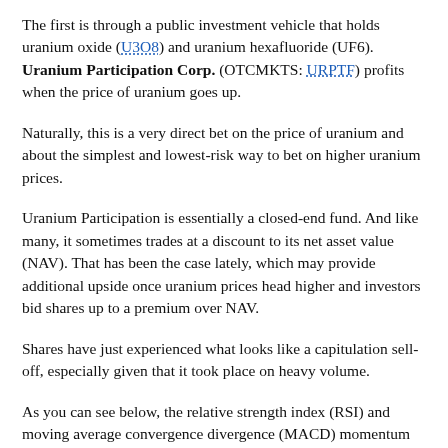The first is through a public investment vehicle that holds uranium oxide (U3O8) and uranium hexafluoride (UF6). Uranium Participation Corp. (OTCMKTS: URPTF) profits when the price of uranium goes up.
Naturally, this is a very direct bet on the price of uranium and about the simplest and lowest-risk way to bet on higher uranium prices.
Uranium Participation is essentially a closed-end fund. And like many, it sometimes trades at a discount to its net asset value (NAV). That has been the case lately, which may provide additional upside once uranium prices head higher and investors bid shares up to a premium over NAV.
Shares have just experienced what looks like a capitulation sell-off, especially given that it took place on heavy volume.
As you can see below, the relative strength index (RSI) and moving average convergence divergence (MACD) momentum